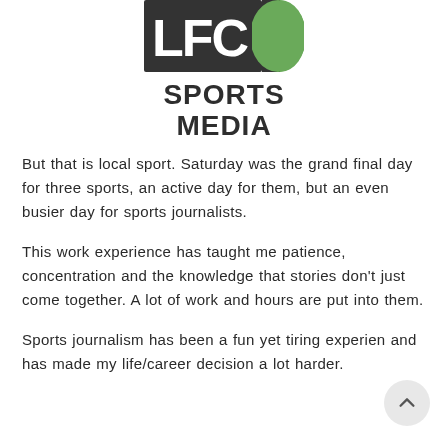[Figure (logo): LFC Sports Media logo — dark rectangular block with letters LFC, a green curved shape, and bold text SPORTS MEDIA below]
But that is local sport. Saturday was the grand final day for three sports, an active day for them, but an even busier day for sports journalists.
This work experience has taught me patience, concentration and the knowledge that stories don't just come together. A lot of work and hours are put into them.
Sports journalism has been a fun yet tiring experien and has made my life/career decision a lot harder.